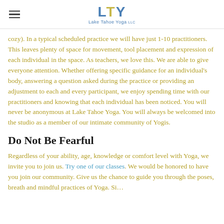LTY Lake Tahoe Yoga
cozy). In a typical scheduled practice we will have just 1-10 practitioners. This leaves plenty of space for movement, tool placement and expression of each individual in the space. As teachers, we love this. We are able to give everyone attention. Whether offering specific guidance for an individual's body, answering a question asked during the practice or providing an adjustment to each and every participant, we enjoy spending time with our practitioners and knowing that each individual has been noticed. You will never be anonymous at Lake Tahoe Yoga. You will always be welcomed into the studio as a member of our intimate community of Yogis.
Do Not Be Fearful
Regardless of your ability, age, knowledge or comfort level with Yoga, we invite you to join us. Try one of our classes. We would be honored to have you join our community. Give us the chance to guide you through the poses, breath and mindful practices of Yoga. See yourself through the lens of...